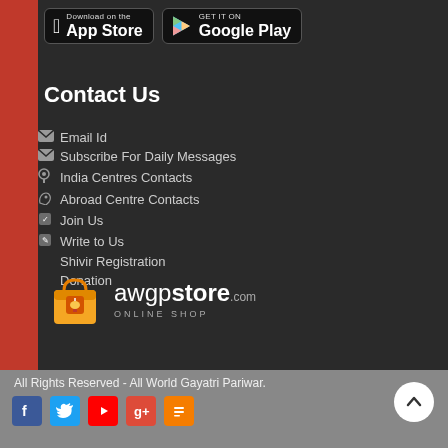[Figure (logo): Download on the App Store badge (dark background, white Apple logo)]
[Figure (logo): Get it on Google Play badge (dark background, colorful Play arrow)]
Contact Us
Email Id
Subscribe For Daily Messages
India Centres Contacts
Abroad Centre Contacts
Join Us
Write to Us
Shivir Registration
Donation
[Figure (logo): awgpstore.com online shop logo with orange shopping bag]
All Rights Reserved - All World Gayatri Pariwar.